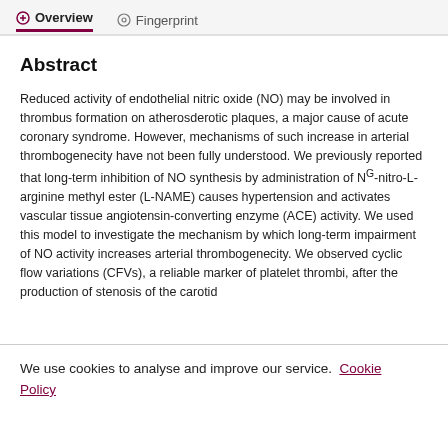Overview   Fingerprint
Abstract
Reduced activity of endothelial nitric oxide (NO) may be involved in thrombus formation on atherosderotic plaques, a major cause of acute coronary syndrome. However, mechanisms of such increase in arterial thrombogenecity have not been fully understood. We previously reported that long-term inhibition of NO synthesis by administration of NG-nitro-L-arginine methyl ester (L-NAME) causes hypertension and activates vascular tissue angiotensin-converting enzyme (ACE) activity. We used this model to investigate the mechanism by which long-term impairment of NO activity increases arterial thrombogenecity. We observed cyclic flow variations (CFVs), a reliable marker of platelet thrombi, after the production of stenosis of the carotid
We use cookies to analyse and improve our service. Cookie Policy